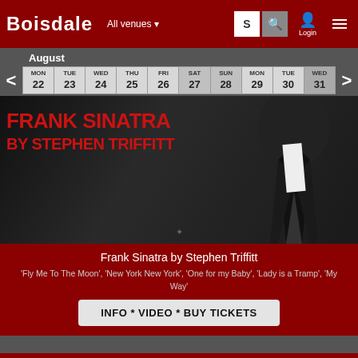BOISDALE  All venues  S  🔍  Login  ☰
August
| MON | TUE | WED | THU | FRI | SAT | SUN | MON | TUE | WED |
| --- | --- | --- | --- | --- | --- | --- | --- | --- | --- |
| 22 | 23 | 24 | 25 | 26 | 27 | 28 | 29 | 30 | 31 |
[Figure (photo): Frank Sinatra by Stephen Triffitt promotional image with bold red text overlaid on dark background showing performer in tuxedo]
Frank Sinatra by Stephen Triffitt
'Fly Me To The Moon', 'New York New York', 'One for my Baby', 'Lady is a Tramp', 'My Way'
INFO * VIDEO * BUY TICKETS
Tue 20 Sep 20:30
Boisdale of Belgravia